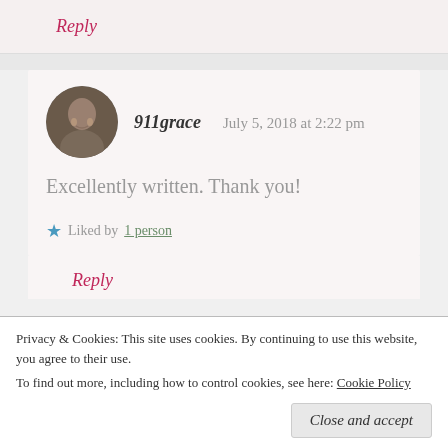Reply
911grace   July 5, 2018 at 2:22 pm
Excellently written. Thank you!
Liked by 1 person
Reply
Privacy & Cookies: This site uses cookies. By continuing to use this website, you agree to their use. To find out more, including how to control cookies, see here: Cookie Policy
Close and accept
2018 at 2:23 pm